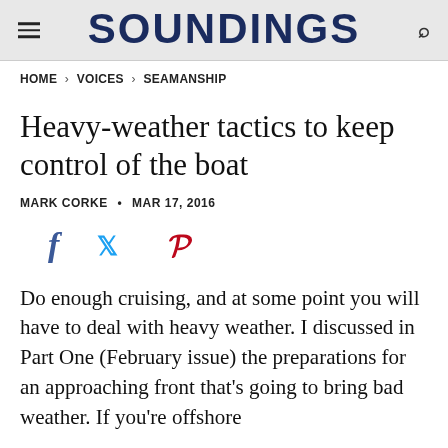SOUNDINGS
HOME > VOICES > SEAMANSHIP
Heavy-weather tactics to keep control of the boat
MARK CORKE • MAR 17, 2016
[Figure (other): Social media share icons: Facebook (f), Twitter (bird), Pinterest (P)]
Do enough cruising, and at some point you will have to deal with heavy weather. I discussed in Part One (February issue) the preparations for an approaching front that's going to bring bad weather. If you're offshore